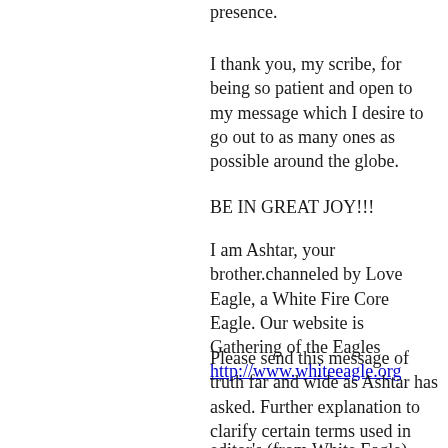presence.
I thank you, my scribe, for being so patient and open to my message which I desire to go out to as many ones as possible around the globe.
BE IN GREAT JOY!!!
I am Ashtar, your brother.channeled by Love Eagle, a White Fire Core Eagle. Our website is Gathering of the Eagles http://www.whiteeagle.org
Please send this message of truth far and wide as Ashtar has asked. Further explanation to clarify certain terms used in Ashtar's message
editor's (from White Eagle)